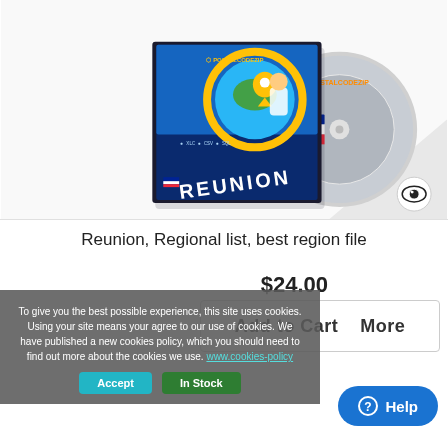[Figure (illustration): Product box and CD for PostalCodeZip Reunion, Regional list, best region file. Box shows globe with location pin, a cartoon figure, and 'REUNION' text. CD shows Reunion flag motif. Small eye logo icon in bottom right corner of the image area.]
Reunion, Regional list, best region file
$24.00
To give you the best possible experience, this site uses cookies. Using your site means your agree to our use of cookies. We have published a new cookies policy, which you should need to find out more about the cookies we use. www.cookies-policy
Add to Cart    More
Accept    In Stock
? Help